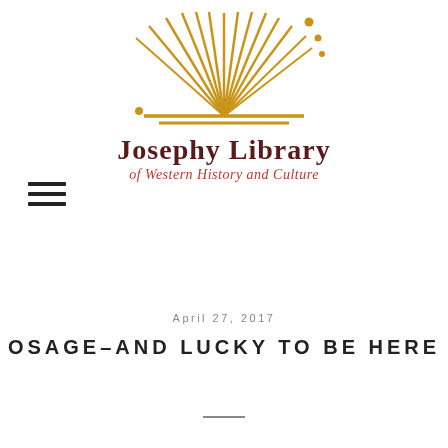[Figure (logo): Josephy Library logo: golden sunburst/open book rays radiating from center with dots, golden horizontal lines below]
Josephy Library
of Western History and Culture
[Figure (other): Hamburger menu icon (three horizontal lines)]
April 27, 2017
OSAGE–AND LUCKY TO BE HERE